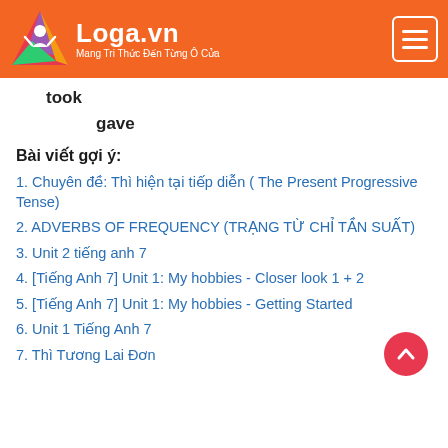[Figure (logo): Loga.vn logo with colorful triangle and text 'Mang Tri Thuc Den Tung O Cua' on orange header background]
took
gave
Bài viết gợi ý:
1. Chuyên đề: Thì hiện tại tiếp diễn ( The Present Progressive Tense)
2. ADVERBS OF FREQUENCY (TRẠNG TỪ CHỈ TẦN SUẤT)
3. Unit 2 tiếng anh 7
4. [Tiếng Anh 7] Unit 1: My hobbies - Closer look 1 + 2
5. [Tiếng Anh 7] Unit 1: My hobbies - Getting Started
6. Unit 1 Tiếng Anh 7
7. Thì Tương Lai Đơn